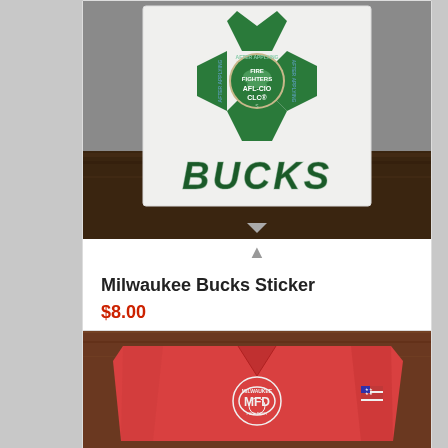[Figure (photo): Photo of a Milwaukee Fire Fighters AFL-CIO CLC Bucks sticker on white paper, displayed on a wooden surface with grey background]
Milwaukee Bucks Sticker
$8.00
Add to cart | Show Details
[Figure (photo): Photo of a red Milwaukee Fire Department polo shirt with MFD logo emblem and American flag patch on sleeve, displayed on a wooden surface]